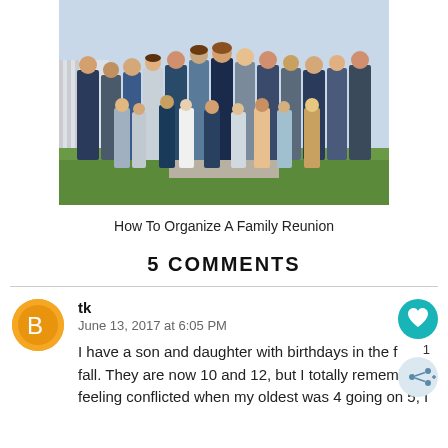[Figure (photo): Group family photo with many adults and children standing outdoors on a green lawn]
How To Organize A Family Reunion
5 COMMENTS
tk
June 13, 2017 at 6:05 PM
I have a son and daughter with birthdays in the fall. They are now 10 and 12, but I totally rememb… feeling conflicted when my oldest was 4 going on 5, I